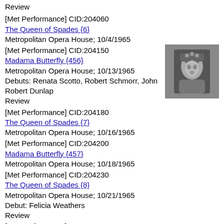Review
[Met Performance] CID:204060
The Queen of Spades {6}
Metropolitan Opera House; 10/4/1965
[Figure (photo): Black and white photo of a performer in costume with ornate headpiece]
[Met Performance] CID:204150
Madama Butterfly {456}
Metropolitan Opera House; 10/13/1965
Debuts: Renata Scotto, Robert Schmorr, John Robert Dunlap
Review
[Met Performance] CID:204180
The Queen of Spades {7}
Metropolitan Opera House; 10/16/1965
[Met Performance] CID:204200
Madama Butterfly {457}
Metropolitan Opera House; 10/18/1965
[Met Performance] CID:204230
The Queen of Spades {8}
Metropolitan Opera House; 10/21/1965
Debut: Felicia Weathers
Review
[Met Performance] CID:204270
Manon Lescaut {104}